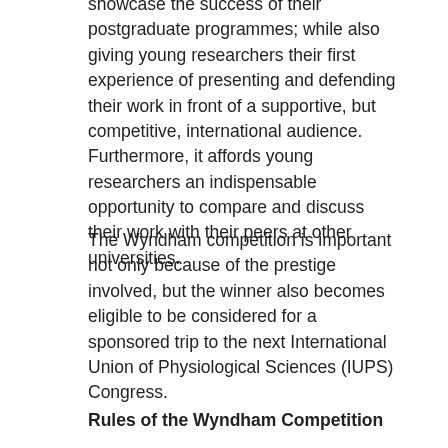showcase the success of their postgraduate programmes; while also giving young researchers their first experience of presenting and defending their work in front of a supportive, but competitive, international audience. Furthermore, it affords young researchers an indispensable opportunity to compare and discuss their work with their peers at other universities.
The Wyndham competition is important not only because of the prestige involved, but the winner also becomes eligible to be considered for a sponsored trip to the next International Union of Physiological Sciences (IUPS) Congress.
Rules of the Wyndham Competition